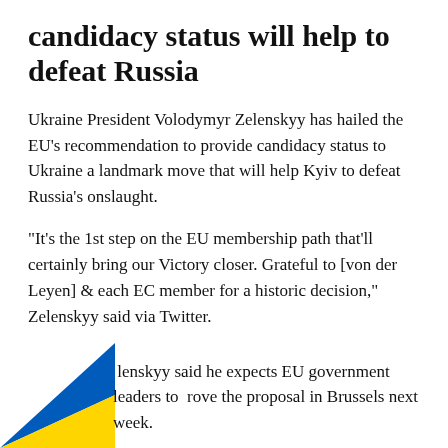candidacy status will help to defeat Russia
Ukraine President Volodymyr Zelenskyy has hailed the EU's recommendation to provide candidacy status to Ukraine a landmark move that will help Kyiv to defeat Russia's onslaught.
“It’s the 1st step on the EU membership path that’ll certainly bring our Victory closer. Grateful to [von der Leyen] & each EC member for a historic decision,” Zelenskyy said via Twitter.
[Figure (illustration): Ukrainian flag diagonal stripe graphic (blue and yellow) in the bottom-left corner of the page]
Zelenskyy said he expects EU government leaders to approve the proposal in Brussels next week.